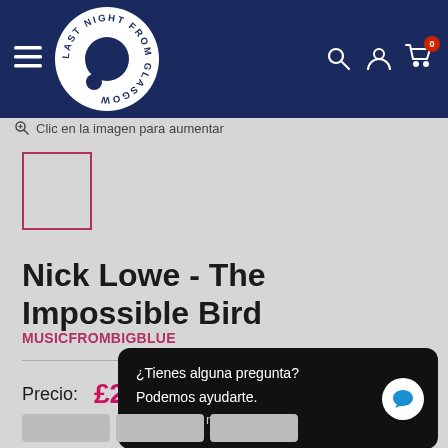[Figure (logo): Last Night From Glasgow circular logo on dark navy navigation bar with hamburger menu, search, account, and cart icons]
Clic en la imagen para aumentar
[Figure (photo): Small product thumbnail image placeholder with pink/crimson border]
Nick Lowe - The Impossible Bird
MUSICFROMBIGBLUE
Precio: £2
¿Tienes alguna pregunta? Podemos ayudarte. Chatea con nosotros ahora.